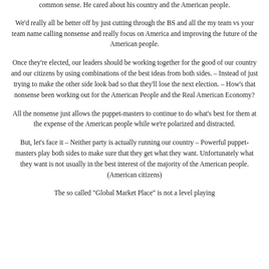common sense. He cared about his country and the American people.
We'd really all be better off by just cutting through the BS and all the my team vs your team name calling nonsense and really focus on America and improving the future of the American people.
Once they're elected, our leaders should be working together for the good of our country and our citizens by using combinations of the best ideas from both sides. – Instead of just trying to make the other side look bad so that they'll lose the next election. – How's that nonsense been working out for the American People and the Real American Economy?
All the nonsense just allows the puppet-masters to continue to do what's best for them at the expense of the American people while we're polarized and distracted.
But, let's face it – Neither party is actually running our country – Powerful puppet-masters play both sides to make sure that they get what they want. Unfortunately what they want is not usually in the best interest of the majority of the American people. (American citizens)
The so called "Global Market Place" is not a level playing